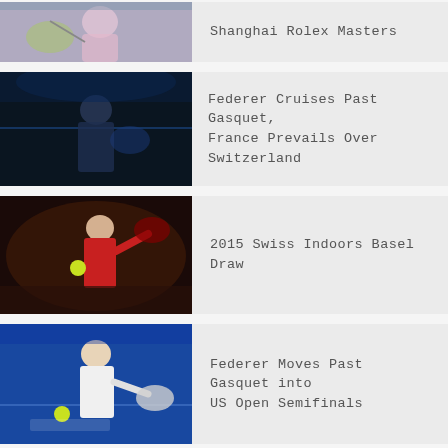[Figure (photo): Tennis player hitting shot, pink shirt, partial view at top]
Shanghai Rolex Masters
[Figure (photo): Tennis player near net, dark background, blue lighting]
Federer Cruises Past Gasquet, France Prevails Over Switzerland
[Figure (photo): Tennis player in red shirt lunging for shot, indoor court]
2015 Swiss Indoors Basel Draw
[Figure (photo): Tennis player in white hitting forehand, blue court background]
Federer Moves Past Gasquet into US Open Semifinals